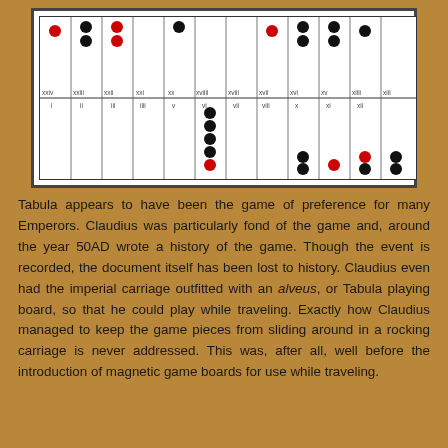[Figure (other): A Tabula board diagram showing black and red game pieces (dots) positioned on a rectangular board divided into 24 columns labeled with Roman numerals (I through XXIV). The upper half shows columns XIII through XXIV and the lower half shows columns I through XII.]
Tabula appears to have been the game of preference for many Emperors. Claudius was particularly fond of the game and, around the year 50AD wrote a history of the game. Though the event is recorded, the document itself has been lost to history. Claudius even had the imperial carriage outfitted with an alveus, or Tabula playing board, so that he could play while traveling. Exactly how Claudius managed to keep the game pieces from sliding around in a rocking carriage is never addressed. This was, after all, well before the introduction of magnetic game boards for use while traveling.